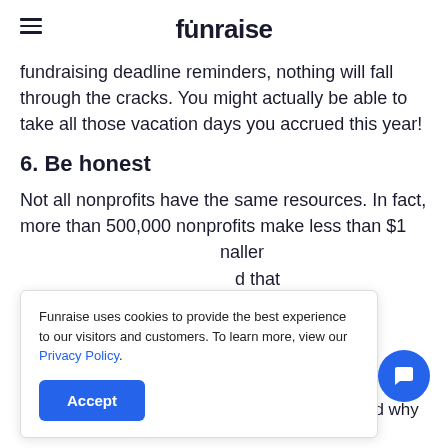funraise
fundraising deadline reminders, nothing will fall through the cracks. You might actually be able to take all those vacation days you accrued this year!
6. Be honest
Not all nonprofits have the same resources. In fact, more than 500,000 nonprofits make less than $1 [million annually...] smaller [...] d that [...] th donors or
Funraise uses cookies to provide the best experience to our visitors and customers. To learn more, view our Privacy Policy.
Tell your donors where their funds are going and why